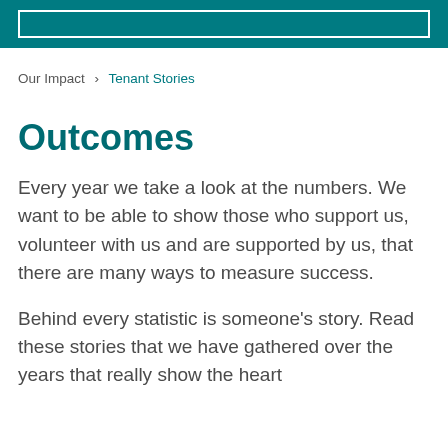Our Impact > Tenant Stories
Outcomes
Every year we take a look at the numbers. We want to be able to show those who support us, volunteer with us and are supported by us, that there are many ways to measure success.
Behind every statistic is someone's story. Read these stories that we have gathered over the years that really show the heart